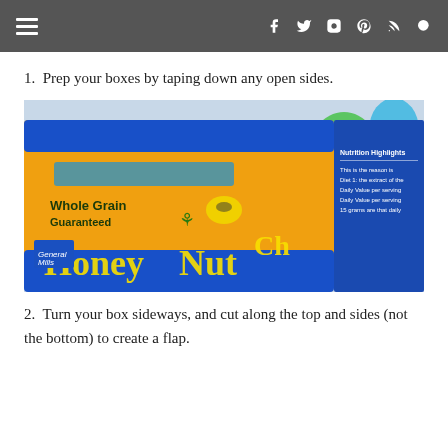≡  f  t  ○  p  )))  🔍
1.  Prep your boxes by taping down any open sides.
[Figure (photo): Close-up photo of a Honey Nut Cheerios cereal box (General Mills, Whole Grain Guaranteed) turned on its side, with colorful balloons in the background.]
2.  Turn your box sideways, and cut along the top and sides (not the bottom) to create a flap.